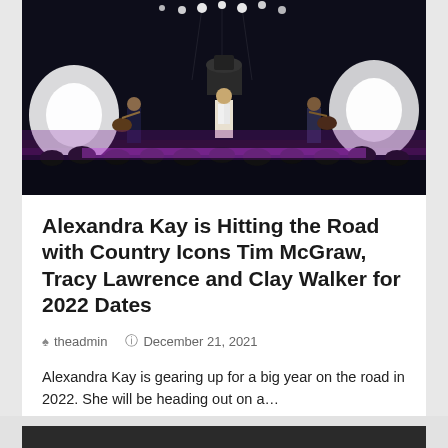[Figure (photo): Concert/live performance photo showing musicians on a dark stage with bright stage lights and a crowd in the foreground. Purple/pink lighting illuminates the stage.]
Alexandra Kay is Hitting the Road with Country Icons Tim McGraw, Tracy Lawrence and Clay Walker for 2022 Dates
theadmin   December 21, 2021
Alexandra Kay is gearing up for a big year on the road in 2022. She will be heading out on a…
READ MORE